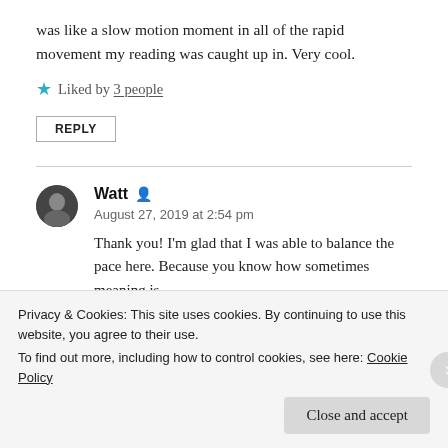was like a slow motion moment in all of the rapid movement my reading was caught up in. Very cool.
★ Liked by 3 people
REPLY
Watt
August 27, 2019 at 2:54 pm
Thank you! I'm glad that I was able to balance the pace here. Because you know how sometimes meaning is
Privacy & Cookies: This site uses cookies. By continuing to use this website, you agree to their use. To find out more, including how to control cookies, see here: Cookie Policy
Close and accept